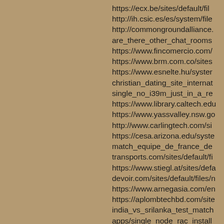https://ecx.be/sites/default/fil...
http://ih.csic.es/es/system/file...
http://commongroundalliance....
are_there_other_chat_rooms...
https://www.fincomercio.com/...
https://www.brm.com.co/sites...
https://www.esnelte.hu/system...
christian_dating_site_internat...
single_no_i39m_just_in_a_re...
https://www.library.caltech.edu...
https://www.yassvalley.nsw.go...
http://www.carlingtech.com/si...
https://cesa.arizona.edu/syste...
match_equipe_de_france_de...
transports.com/sites/default/fi...
https://www.stiegl.at/sites/defa...
devoir.com/sites/default/files/n...
https://www.arnegasia.com/en...
https://aplombtechbd.com/site...
india_vs_srilanka_test_match...
apps/single_node_rac_install...
https://www.francelink.net/site...
http://cmsgreen.com/sites/def...